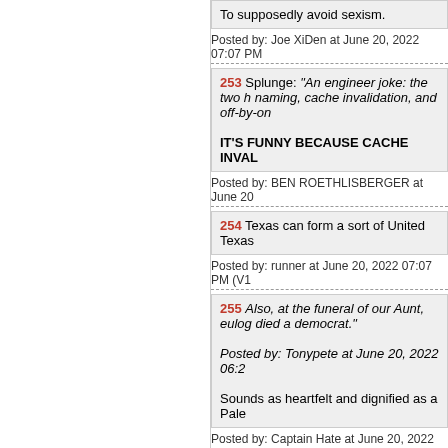To supposedly avoid sexism.
Posted by: Joe XiDen at June 20, 2022 07:07 PM
253 Splunge: "An engineer joke: the two hardest problems in computer science are naming, cache invalidation, and off-by-one errors."

IT'S FUNNY BECAUSE CACHE INVAL
Posted by: BEN ROETHLISBERGER at June 20
254 Texas can form a sort of United Texas
Posted by: runner at June 20, 2022 07:07 PM (V1
255 Also, at the funeral of our Aunt, eulog... died a democrat."

Posted by: Tonypete at June 20, 2022 06:2

Sounds as heartfelt and dignified as a Pale
Posted by: Captain Hate at June 20, 2022 07:07 P